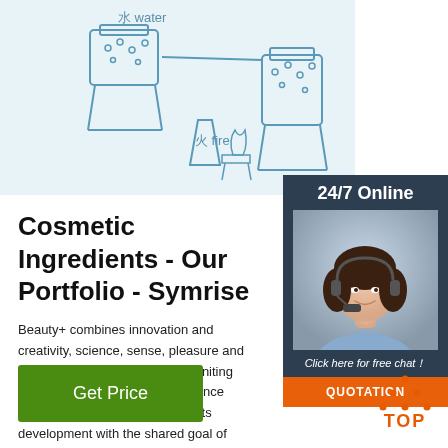[Figure (illustration): Line drawing illustration of distillation/hydrosol process showing beakers, burner (火 fire), water (水 water), and hydrosol (纯露 Hydrosol) on light blue background]
[Figure (photo): 24/7 Online customer service panel with dark navy background showing woman with headset smiling, 'Click here for free chat!' text, and orange QUOTATION button]
Cosmetic Ingredients - Our Portfolio - Symrise
Beauty+ combines innovation and creativity, science, sense, pleasure and purpose. Beauty+ at Symrise: Uniting our extensive expertise in fragrance creation and cosmetic ingredients development with the shared goal of generating unique combined solutions for an ...
[Figure (other): Green 'Get Price' button]
[Figure (other): Orange TOP button with arrow icon]